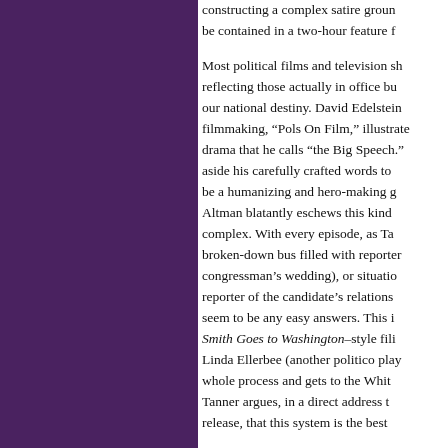constructing a complex satire grounded be contained in a two-hour feature fi Most political films and television sho reflecting those actually in office but our national destiny. David Edelstein filmmaking, "Pols On Film," illustrates drama that he calls "the Big Speech." aside his carefully crafted words to g be a humanizing and hero-making ge Altman blatantly eschews this kind of complex. With every episode, as Tan broken-down bus filled with reporters congressman's wedding), or situation reporter of the candidate's relationsh seem to be any easy answers. This is Smith Goes to Washington–style filbu Linda Ellerbee (another politico playin whole process and gets to the White Tanner argues, in a direct address to release, that this system is the best v